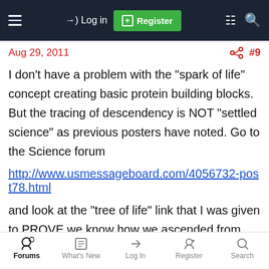Log in | Register
Aug 29, 2011  #9
I don't have a problem with the "spark of life" concept creating basic protein building blocks. But the tracing of descendency is NOT "settled science" as previous posters have noted. Go to the Science forum

http://www.usmessageboard.com/4056732-post78.html

and look at the "tree of life" link that I was given to PROVE we know how we ascended from slime mold. We can't even trace the lineage. Which would be a necessary scientific pre-requisite for proving that prime mover behind all that. Consciously or not.
Forums | What's New | Log In | Register | Search